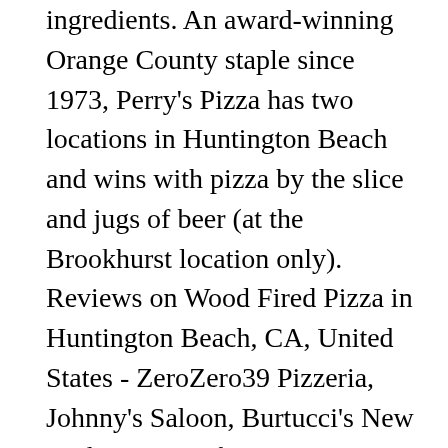ingredients. An award-winning Orange County staple since 1973, Perry's Pizza has two locations in Huntington Beach and wins with pizza by the slice and jugs of beer (at the Brookhurst location only). Reviews on Wood Fired Pizza in Huntington Beach, CA, United States - ZeroZero39 Pizzeria, Johnny's Saloon, Burtucci's New York Pizza, Pitfire Artisan Pizza, Michael's Pizzeria - Naples Island, Munchies Pizza, Folks, 2145, Mona This restaurant serves classic caesar, pear & gorgonzola, mac n cheese, brie and hickory smoked bacon, classic pepperoni, mediterranean greek, and spaghetti and metballs. We continually strive to improve the taste and quality of all that we offer by adding new combinations of fresh herbs and